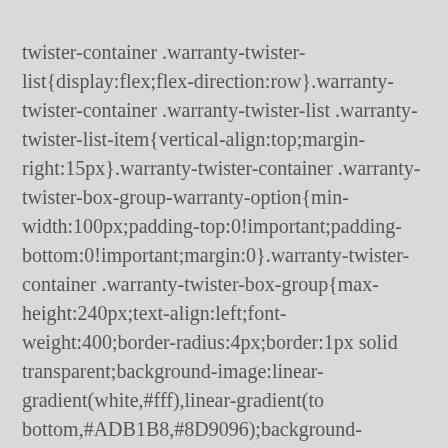twister-container .warranty-twister-list{display:flex;flex-direction:row}.warranty-twister-container .warranty-twister-list .warranty-twister-list-item{vertical-align:top;margin-right:15px}.warranty-twister-container .warranty-twister-box-group-warranty-option{min-width:100px;padding-top:0!important;padding-bottom:0!important;margin:0}.warranty-twister-container .warranty-twister-box-group{max-height:240px;text-align:left;font-weight:400;border-radius:4px;border:1px solid transparent;background-image:linear-gradient(white,#fff),linear-gradient(to bottom,#ADB1B8,#8D9096);background-